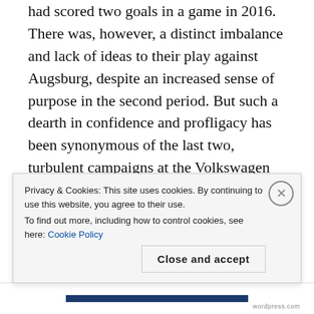had scored two goals in a game in 2016. There was, however, a distinct imbalance and lack of ideas to their play against Augsburg, despite an increased sense of purpose in the second period. But such a dearth in confidence and profligacy has been synonymous of the last two, turbulent campaigns at the Volkswagen Arena.
Their current stagnation feels light years away from the stable partnership enjoyed under sporting director Klaus Allofs and head coach Dieter Hecking- those heady heights of a Bundesliga runners-up spot, a DfB Pokal trophy
Privacy & Cookies: This site uses cookies. By continuing to use this website, you agree to their use.
To find out more, including how to control cookies, see here: Cookie Policy